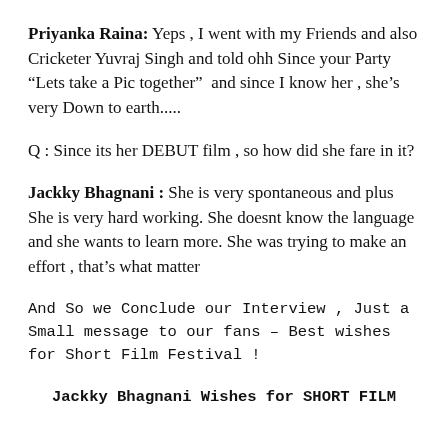Priyanka Raina: Yeps , I went with my Friends and also Cricketer Yuvraj Singh and told ohh Since your Party “Lets take a Pic together”  and since I know her , she’s very Down to earth.....
Q : Since its her DEBUT film , so how did she fare in it?
Jackky Bhagnani : She is very spontaneous and plus She is very hard working. She doesnt know the language and she wants to learn more. She was trying to make an effort , that’s what matter
And So we Conclude our Interview , Just a Small message to our fans – Best wishes for Short Film Festival !
Jackky Bhagnani Wishes for SHORT FILM